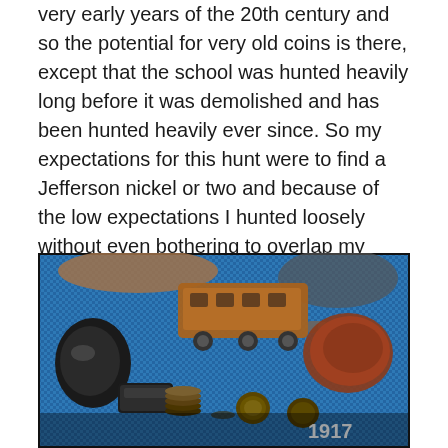very early years of the 20th century and so the potential for very old coins is there, except that the school was hunted heavily long before it was demolished and has been hunted heavily ever since. So my expectations for this hunt were to find a Jefferson nickel or two and because of the low expectations I hunted loosely without even bothering to overlap my swings. At the end of my 45 minutes I was surprised by my finds.
[Figure (photo): Photo of metal detecting finds laid out on a blue textured surface, including a rusty toy train/bus, dark metallic objects, several old coins, and a reddish rock or dirt clump. The number '1917' is visible in white text on the image.]